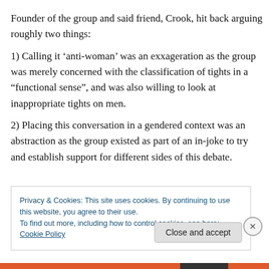Founder of the group and said friend, Crook, hit back arguing roughly two things:
1) Calling it ‘anti-woman’ was an exxageration as the group was merely concerned with the classification of tights in a “functional sense”, and was also willing to look at inappropriate tights on men.
2) Placing this conversation in a gendered context was an abstraction as the group existed as part of an in-joke to try and establish support for different sides of this debate.
Privacy & Cookies: This site uses cookies. By continuing to use this website, you agree to their use.
To find out more, including how to control cookies, see here: Cookie Policy